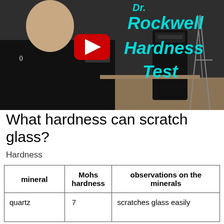[Figure (screenshot): YouTube video thumbnail showing a man in a black Under Armour shirt with text 'Dr. Rockwell Hardness Test' in cyan on right side and a red YouTube play button in the center.]
What hardness can scratch glass?
Hardness
| mineral | Mohs hardness | observations on the minerals |
| --- | --- | --- |
| quartz | 7 | scratches glass easily |